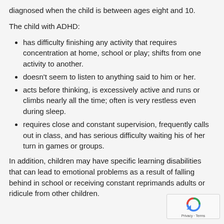diagnosed when the child is between ages eight and 10.
The child with ADHD:
has difficulty finishing any activity that requires concentration at home, school or play; shifts from one activity to another.
doesn't seem to listen to anything said to him or her.
acts before thinking, is excessively active and runs or climbs nearly all the time; often is very restless even during sleep.
requires close and constant supervision, frequently calls out in class, and has serious difficulty waiting his of her turn in games or groups.
In addition, children may have specific learning disabilities that can lead to emotional problems as a result of falling behind in school or receiving constant reprimands adults or ridicule from other children.